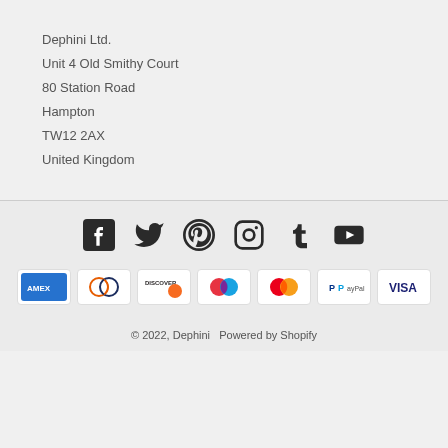Dephini Ltd.
Unit 4 Old Smithy Court
80 Station Road
Hampton
TW12 2AX
United Kingdom
[Figure (infographic): Social media icons: Facebook, Twitter, Pinterest, Instagram, Tumblr, YouTube]
[Figure (infographic): Payment method icons: American Express, Diners Club, Discover, Maestro, Mastercard, PayPal, Visa]
© 2022, Dephini  Powered by Shopify